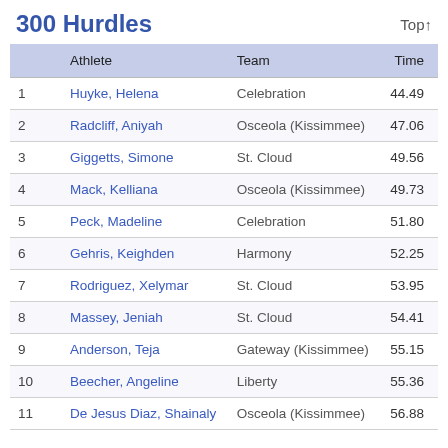300 Hurdles
|  | Athlete | Team | Time |
| --- | --- | --- | --- |
| 1 | Huyke, Helena | Celebration | 44.49 |
| 2 | Radcliff, Aniyah | Osceola (Kissimmee) | 47.06 |
| 3 | Giggetts, Simone | St. Cloud | 49.56 |
| 4 | Mack, Kelliana | Osceola (Kissimmee) | 49.73 |
| 5 | Peck, Madeline | Celebration | 51.80 |
| 6 | Gehris, Keighden | Harmony | 52.25 |
| 7 | Rodriguez, Xelymar | St. Cloud | 53.95 |
| 8 | Massey, Jeniah | St. Cloud | 54.41 |
| 9 | Anderson, Teja | Gateway (Kissimmee) | 55.15 |
| 10 | Beecher, Angeline | Liberty | 55.36 |
| 11 | De Jesus Diaz, Shainaly | Osceola (Kissimmee) | 56.88 |